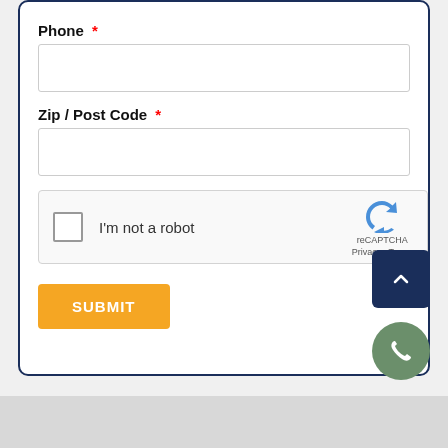Phone *
Zip / Post Code *
[Figure (screenshot): reCAPTCHA widget with checkbox labeled I'm not a robot, reCAPTCHA logo, Privacy and Terms links]
SUBMIT
[Figure (other): Scroll to top button (dark blue square with up chevron)]
[Figure (other): Phone call button (green circle with phone icon)]